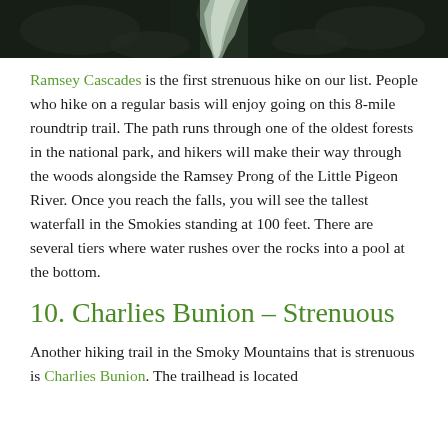[Figure (photo): Partial photo of a waterfall cascading over dark rocks, cropped at top of page]
Ramsey Cascades is the first strenuous hike on our list. People who hike on a regular basis will enjoy going on this 8-mile roundtrip trail. The path runs through one of the oldest forests in the national park, and hikers will make their way through the woods alongside the Ramsey Prong of the Little Pigeon River. Once you reach the falls, you will see the tallest waterfall in the Smokies standing at 100 feet. There are several tiers where water rushes over the rocks into a pool at the bottom.
10. Charlies Bunion – Strenuous
Another hiking trail in the Smoky Mountains that is strenuous is Charlies Bunion. The trailhead is located